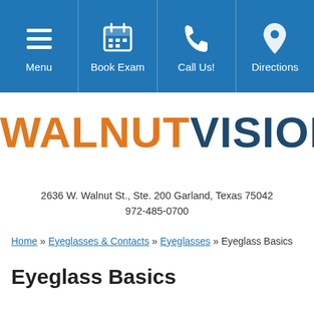[Figure (screenshot): Navigation bar with four blue buttons: Menu (hamburger icon), Book Exam (calendar icon), Call Us! (phone icon), Directions (map pin icon)]
[Figure (logo): Walnut Vision logo — WALNUT in orange, VISION in dark blue, bold large text]
2636 W. Walnut St., Ste. 200 Garland, Texas 75042
972-485-0700
Home » Eyeglasses & Contacts » Eyeglasses » Eyeglass Basics
Eyeglass Basics